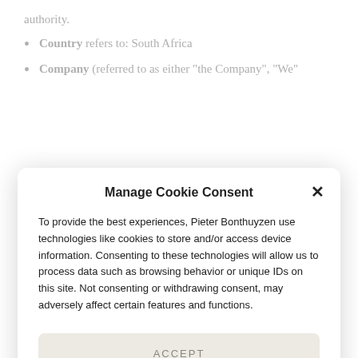authority.
Country refers to: South Africa
Company (referred to as either "the Company", "We"
Manage Cookie Consent
To provide the best experiences, Pieter Bonthuyzen use technologies like cookies to store and/or access device information. Consenting to these technologies will allow us to process data such as browsing behavior or unique IDs on this site. Not consenting or withdrawing consent, may adversely affect certain features and functions.
ACCEPT
DENY
VIEW PREFERENCES